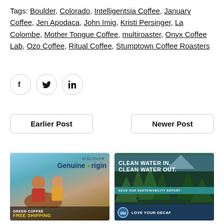Tags: Boulder, Colorado, Intelligentsia Coffee, January Coffee, Jen Apodaca, John Imig, Kristi Persinger, La Colombe, Mother Tongue Coffee, multiroaster, Onyx Coffee Lab, Ozo Coffee, Ritual Coffee, Stumptown Coffee Roasters
[Figure (other): Three social share buttons: Facebook (f icon), Twitter (bird icon), LinkedIn (in icon) — each in a circular outlined button]
Earlier Post
Newer Post
[Figure (photo): Advertisement for Genuine Origin green coffee with free shipping. Shows two women with coffee beans, text: DISCOVER Genuine Origin (with leaf logo), GREEN COFFEE FREE SHIPPING]
[Figure (photo): Advertisement for Swiss Water Decaf. Forest and mountain lake background, text: CLEAN WATER IN. CLEAN WATER OUT. READ OUR SUSTAINABILITY REPORT, SWISS WATER logo, LOVE YOUR DECAF]